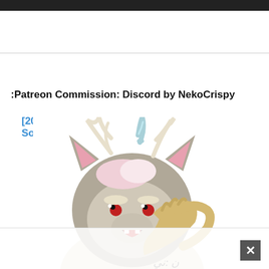[20] Source
:Patreon Commission: Discord by NekoCrispy
[Figure (illustration): Cartoon furry character with grey fur, pink ears, yellow eyes with red pupils, white and pink hair, antlers, and a blue twisted horn. The character is making a heart shape with its hands. Art style is anime/furry illustration. Artist signature visible at bottom right.]